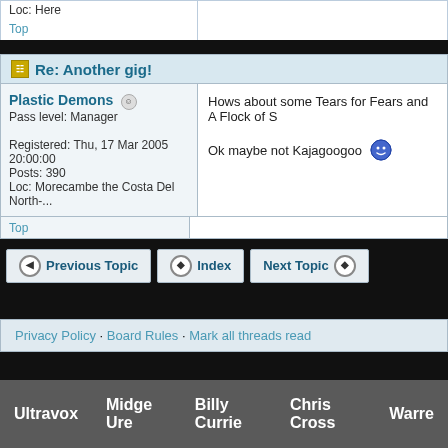Loc: Here
Top
Re: Another gig!
Plastic Demons
Pass level: Manager
Registered: Thu, 17 Mar 2005 20:00:00
Posts: 390
Loc: Morecambe the Costa Del North-...
Hows about some Tears for Fears and A Flock of S
Ok maybe not Kajagoogoo
Top
Previous Topic
Index
Next Topic
Privacy Policy · Board Rules · Mark all threads read
Ultravox   Midge Ure   Billy Currie   Chris Cross   Warre